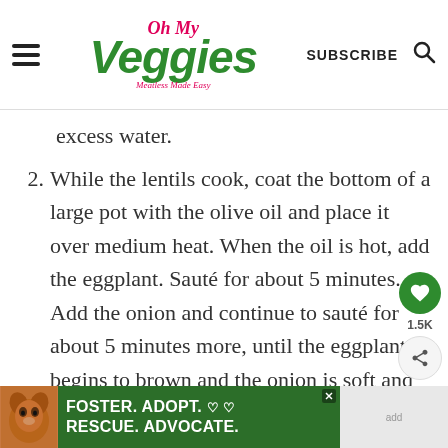Oh My Veggies - Meatless Made Easy | SUBSCRIBE
excess water.
2. While the lentils cook, coat the bottom of a large pot with the olive oil and place it over medium heat. When the oil is hot, add the eggplant. Sauté for about 5 minutes. Add the onion and continue to sauté for about 5 minutes more, until the eggplant begins to brown and the onion is soft and translucent. Add the garlic, serrano pepper, ginger, 1 tablespoon of garam masala, and the cumin. Sauté about 1 minute more, until very fragrant.
[Figure (infographic): FOSTER. ADOPT. RESCUE. ADVOCATE. advertisement banner with dog photo and heart icons]